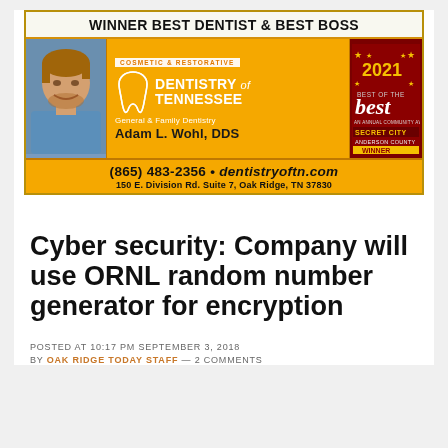[Figure (advertisement): Dentistry of Tennessee advertisement. Header: 'WINNER BEST DENTIST & BEST BOSS'. Features photo of Adam L. Wohl DDS, tooth logo, orange branding, 2021 Best of the Best Secret City Anderson County winner badge. Phone: (865) 483-2356, website: dentistryoftn.com, address: 150 E. Division Rd. Suite 7, Oak Ridge, TN 37830]
Cyber security: Company will use ORNL random number generator for encryption
POSTED AT 10:17 PM SEPTEMBER 3, 2018
BY OAK RIDGE TODAY STAFF — 2 COMMENTS